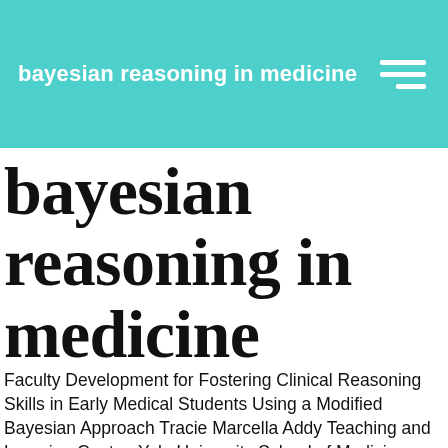bayesian reasoning in medicine
bayesian reasoning in medicine
Faculty Development for Fostering Clinical Reasoning Skills in Early Medical Students Using a Modified Bayesian Approach Tracie Marcella Addy Teaching and Learning Center, Yale University School of Medicine, New Haven, Connecticut, USA , Janet Hafler Teaching and Learning Center, Yale University School of Medicine, New Haven, Connecticut, USA Correspondence janet.hafler@yale.edu 433–430) for their study presented in this issue of the Journal